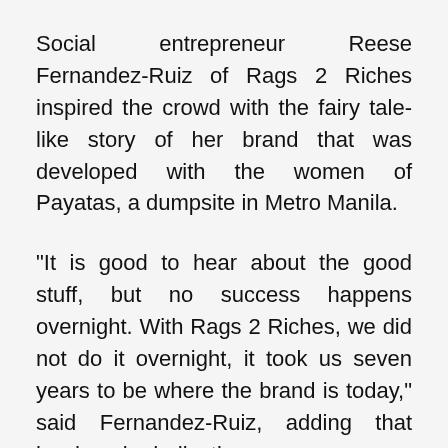Social entrepreneur Reese Fernandez-Ruiz of Rags 2 Riches inspired the crowd with the fairy tale-like story of her brand that was developed with the women of Payatas, a dumpsite in Metro Manila.
“It is good to hear about the good stuff, but no success happens overnight. With Rags 2 Riches, we did not do it overnight, it took us seven years to be where the brand is today,” said Fernandez-Ruiz, adding that hard-work, dedication